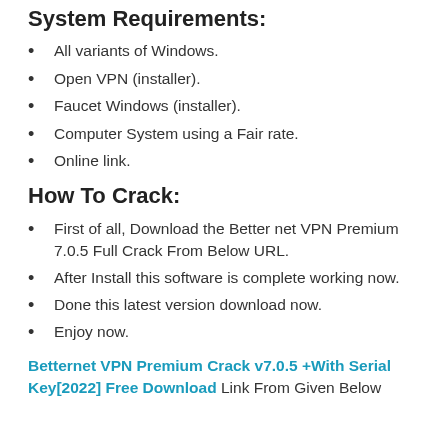System Requirements:
All variants of Windows.
Open VPN (installer).
Faucet Windows (installer).
Computer System using a Fair rate.
Online link.
How To Crack:
First of all, Download the Better net VPN Premium 7.0.5 Full Crack From Below URL.
After Install this software is complete working now.
Done this latest version download now.
Enjoy now.
Betternet VPN Premium Crack v7.0.5 +With Serial Key[2022] Free Download Link From Given Below